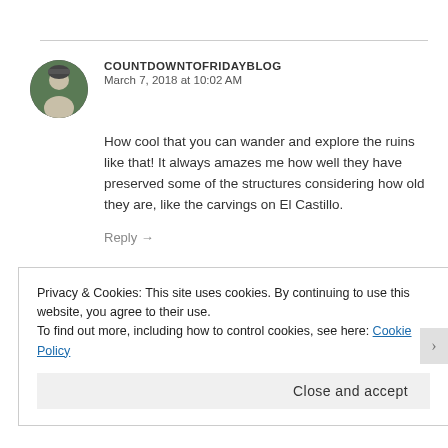COUNTDOWNTOFRIDAYBLOG
March 7, 2018 at 10:02 AM
How cool that you can wander and explore the ruins like that! It always amazes me how well they have preserved some of the structures considering how old they are, like the carvings on El Castillo.
Reply →
Privacy & Cookies: This site uses cookies. By continuing to use this website, you agree to their use.
To find out more, including how to control cookies, see here: Cookie Policy
Close and accept